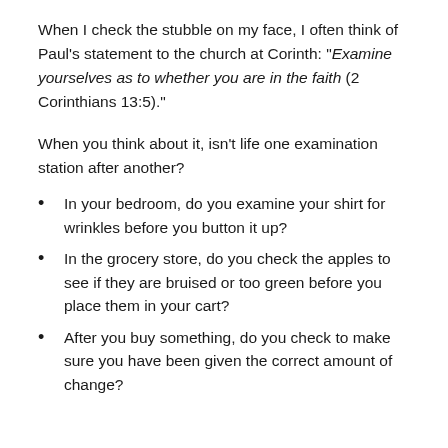When I check the stubble on my face, I often think of Paul’s statement to the church at Corinth: “Examine yourselves as to whether you are in the faith (2 Corinthians 13:5).”
When you think about it, isn’t life one examination station after another?
In your bedroom, do you examine your shirt for wrinkles before you button it up?
In the grocery store, do you check the apples to see if they are bruised or too green before you place them in your cart?
After you buy something, do you check to make sure you have been given the correct amount of change?